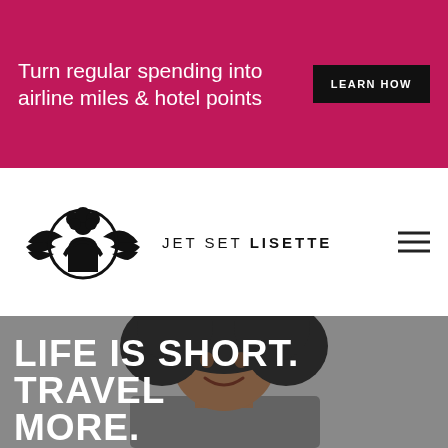Turn regular spending into airline miles & hotel points
LEARN HOW
[Figure (logo): Jet Set Lisette logo: woman silhouette in circle with wing-like design]
JET SET LISETTE
[Figure (photo): Woman with curly natural hair smiling, gray background, photo used as hero banner]
LIFE IS SHORT. TRAVEL MORE.